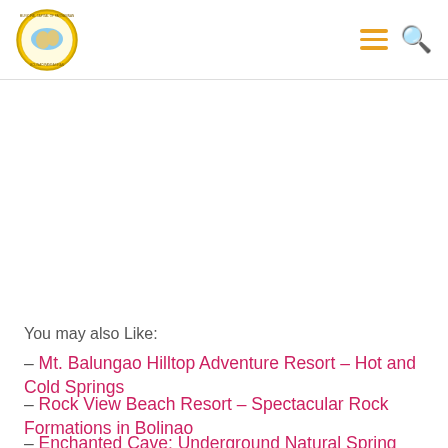Municipal Government of Pangasinan – Navigation header with logo and menu/search icons
You may also Like:
– Mt. Balungao Hilltop Adventure Resort – Hot and Cold Springs
– Rock View Beach Resort – Spectacular Rock Formations in Bolinao
– Enchanted Cave: Underground Natural Spring Pool